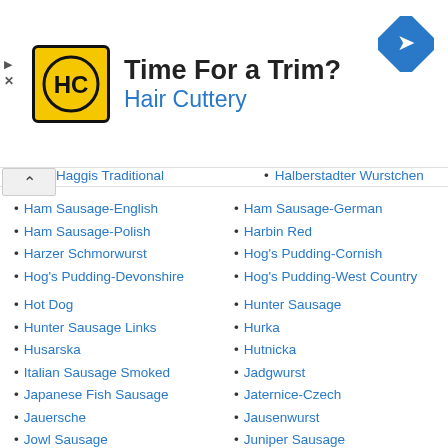[Figure (other): Hair Cuttery advertisement banner with logo (HC in circle on yellow background), headline 'Time For a Trim?', subtitle 'Hair Cuttery', and a blue navigation/map icon on the right]
Haggis Traditional (partial)
Halberstadter Wurstchen (partial)
Ham Sausage-English
Ham Sausage-German
Ham Sausage-Polish
Harbin Red
Harzer Schmorwurst
Hog's Pudding-Cornish
Hog's Pudding-Devonshire
Hog's Pudding-West Country
Hot Dog
Hunter Sausage
Hunter Sausage Links
Hurka
Husarska
Hutnicka
Italian Sausage Smoked
Jadgwurst
Japanese Fish Sausage
Jaternice-Czech
Jauersche
Jausenwurst
Jowl Sausage
Juniper Sausage
Kabana
Kabanosy
Kalbsbratwurst
Kanga Banga
Kartoffelwurst With Boiled Potatoes
Kartoffelwurst With Raw Potatoes
Kawassy
Kazy